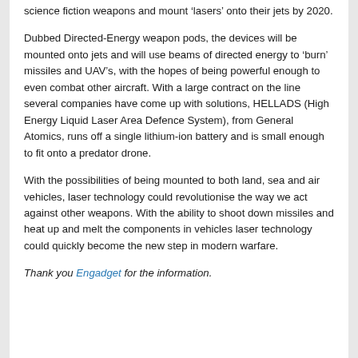science fiction weapons and mount 'lasers' onto their jets by 2020.
Dubbed Directed-Energy weapon pods, the devices will be mounted onto jets and will use beams of directed energy to 'burn' missiles and UAV's, with the hopes of being powerful enough to even combat other aircraft. With a large contract on the line several companies have come up with solutions, HELLADS (High Energy Liquid Laser Area Defence System), from General Atomics, runs off a single lithium-ion battery and is small enough to fit onto a predator drone.
With the possibilities of being mounted to both land, sea and air vehicles, laser technology could revolutionise the way we act against other weapons. With the ability to shoot down missiles and heat up and melt the components in vehicles laser technology could quickly become the new step in modern warfare.
Thank you Engadget for the information.